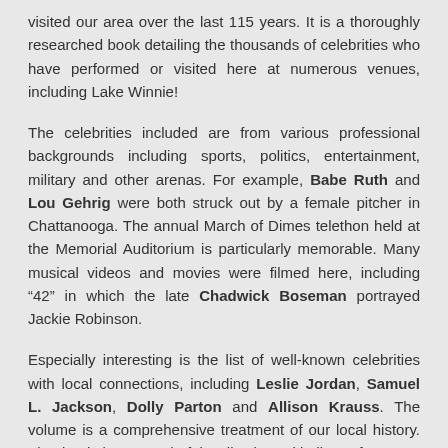visited our area over the last 115 years. It is a thoroughly researched book detailing the thousands of celebrities who have performed or visited here at numerous venues, including Lake Winnie!
The celebrities included are from various professional backgrounds including sports, politics, entertainment, military and other arenas. For example, Babe Ruth and Lou Gehrig were both struck out by a female pitcher in Chattanooga. The annual March of Dimes telethon held at the Memorial Auditorium is particularly memorable. Many musical videos and movies were filmed here, including “42” in which the late Chadwick Boseman portrayed Jackie Robinson.
Especially interesting is the list of well-known celebrities with local connections, including Leslie Jordan, Samuel L. Jackson, Dolly Parton and Allison Krauss. The volume is a comprehensive treatment of our local history. The book is a wonderful collection with lists of names, dates and venues.